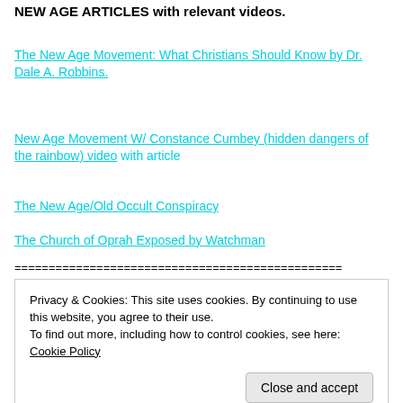NEW AGE ARTICLES with relevant videos.
The New Age Movement: What Christians Should Know by Dr. Dale A. Robbins.
New Age Movement W/ Constance Cumbey (hidden dangers of the rainbow) video with article
The New Age/Old Occult Conspiracy
The Church of Oprah Exposed by Watchman
================================================
Privacy & Cookies: This site uses cookies. By continuing to use this website, you agree to their use. To find out more, including how to control cookies, see here: Cookie Policy
Close and accept